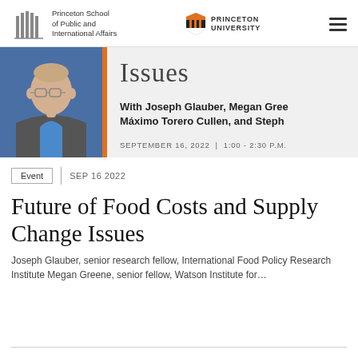Princeton School of Public and International Affairs | Princeton University
[Figure (screenshot): Event banner with a photo of a bald man with glasses on the left, an orange vertical bar, and a grey background area on the right showing partial text: 'Issues', 'With Joseph Glauber, Megan Gree', 'Máximo Torero Cullen, and Steph', 'SEPTEMBER 16, 2022 | 1:00 - 2:30 P.M.']
Event | SEP 16 2022
Future of Food Costs and Supply Change Issues
Joseph Glauber, senior research fellow, International Food Policy Research Institute Megan Greene, senior fellow, Watson Institute for...